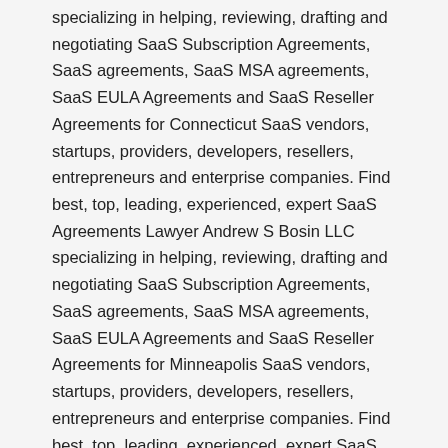specializing in helping, reviewing, drafting and negotiating SaaS Subscription Agreements, SaaS agreements, SaaS MSA agreements, SaaS EULA Agreements and SaaS Reseller Agreements for Connecticut SaaS vendors, startups, providers, developers, resellers, entrepreneurs and enterprise companies. Find best, top, leading, experienced, expert SaaS Agreements Lawyer Andrew S Bosin LLC specializing in helping, reviewing, drafting and negotiating SaaS Subscription Agreements, SaaS agreements, SaaS MSA agreements, SaaS EULA Agreements and SaaS Reseller Agreements for Minneapolis SaaS vendors, startups, providers, developers, resellers, entrepreneurs and enterprise companies. Find best, top, leading, experienced, expert SaaS Agreements Lawyer Andrew S Bosin LLC specializing in helping, reviewing, drafting and negotiating SaaS Subscription Agreements, SaaS agreements, SaaS MSA agreements, SaaS EULA Agreements and SaaS Reseller Agreements for San